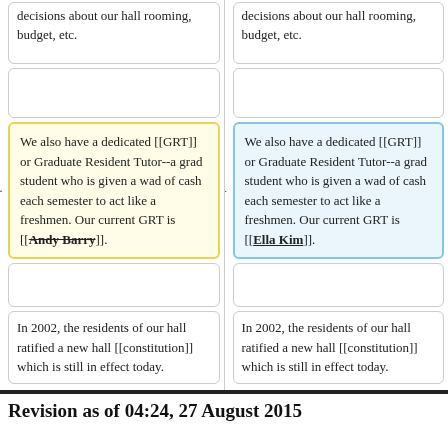decisions about our hall rooming, budget, etc.
decisions about our hall rooming, budget, etc.
We also have a dedicated [[GRT]] or Graduate Resident Tutor--a grad student who is given a wad of cash each semester to act like a freshmen. Our current GRT is [[Andy Barry]].
We also have a dedicated [[GRT]] or Graduate Resident Tutor--a grad student who is given a wad of cash each semester to act like a freshmen. Our current GRT is [[Ella Kim]].
In 2002, the residents of our hall ratified a new hall [[constitution]] which is still in effect today.
In 2002, the residents of our hall ratified a new hall [[constitution]] which is still in effect today.
Revision as of 04:24, 27 August 2015